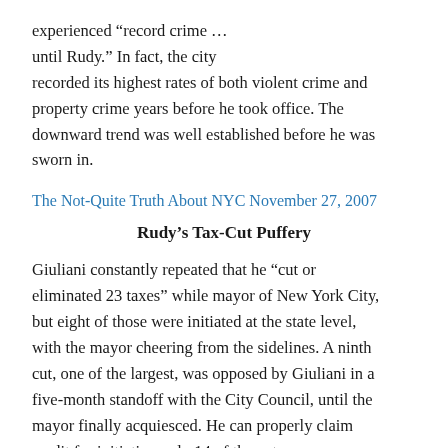experienced “record crime … until Rudy.” In fact, the city recorded its highest rates of both violent crime and property crime years before he took office. The downward trend was well established before he was sworn in.
The Not-Quite Truth About NYC November 27, 2007
Rudy’s Tax-Cut Puffery
Giuliani constantly repeated that he “cut or eliminated 23 taxes” while mayor of New York City, but eight of those were initiated at the state level, with the mayor cheering from the sidelines. A ninth cut, one of the largest, was opposed by Giuliani in a five-month standoff with the City Council, until the mayor finally acquiesced. He can properly claim credit for initiating only 14 of the cuts.